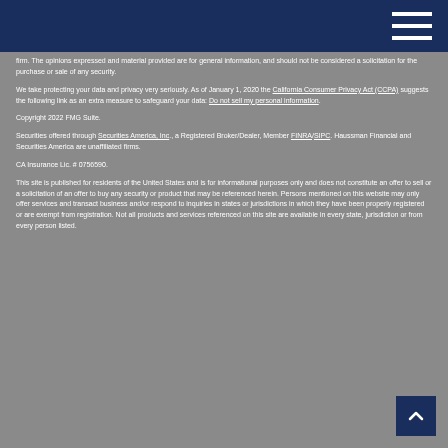Navigation header with hamburger menu
firm. The opinions expressed and material provided are for general information, and should not be considered a solicitation for the purchase or sale of any security.
We take protecting your data and privacy very seriously. As of January 1, 2020 the California Consumer Privacy Act (CCPA) suggests the following link as an extra measure to safeguard your data: Do not sell my personal information.
Copyright 2022 FMG Suite.
Securities offered through Securities America, Inc., a Registered Broker/Dealer, Member FINRA/SIPC. Haussman Financial and Securities America are unaffiliated firms.
CA Insurance Lic. # 0756590.
This site is published for residents of the United States and is for informational purposes only and does not constitute an offer to sell or a solicitation of an offer to buy any security or product that may be referenced herein. Persons mentioned on this website may only offer services and transact business and/or respond to inquiries in states or jurisdictions in which they have been properly registered or are exempt from registration. Not all products and services referenced on this site are available in every state, jurisdiction or from every person listed.